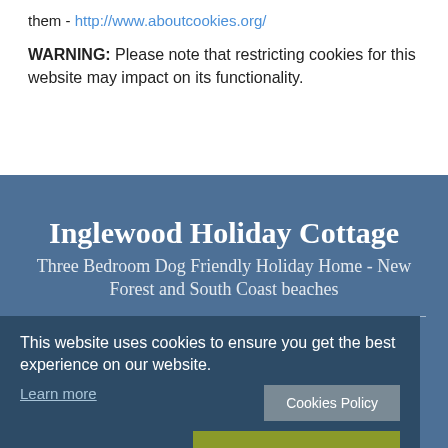them - http://www.aboutcookies.org/
WARNING: Please note that restricting cookies for this website may impact on its functionality.
Inglewood Holiday Cottage
Three Bedroom Dog Friendly Holiday Home - New Forest and South Coast beaches
14 Inglewood Drive, New Milton, Hampshire, BH25 6TT, England
This website uses cookies to ensure you get the best experience on our website.
Learn more
Cookies Policy
Decline
Allow cookies
© All content copyright 2022